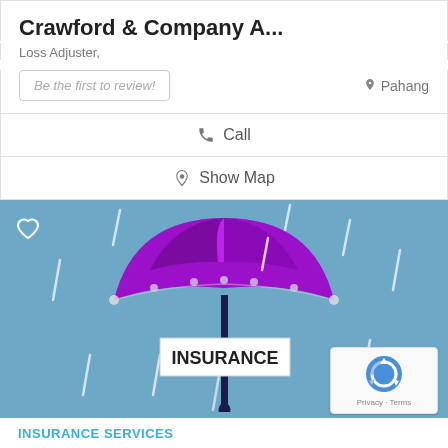Crawford & Company A...
Loss Adjuster,
Be the first to review!
Pahang
Call
Show Map
[Figure (illustration): Insurance illustration with a purple umbrella on a blue rainy background with the word INSURANCE on a sign hanging from the umbrella handle. A heart icon is in the top left corner. A reCAPTCHA badge is in the bottom right corner.]
INSURANCE SERVICES